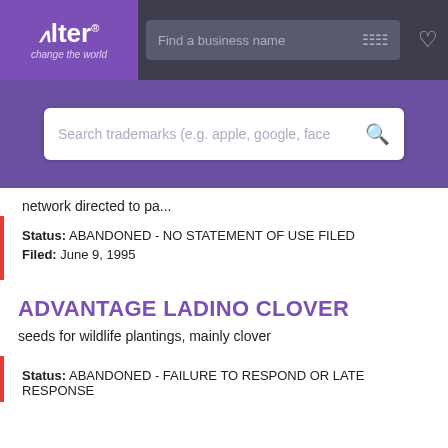[Figure (screenshot): Alter trademark search website navbar with purple logo, search bar 'Find a business name', filter icon, and heart icon on dark background]
[Figure (screenshot): Purple hero section with white search bar 'Search trademarks (e.g. apple, google, face' and search icon]
network directed to pa...
Status: ABANDONED - NO STATEMENT OF USE FILED
Filed: June 9, 1995
ADVANTAGE LADINO CLOVER
seeds for wildlife plantings, mainly clover
Status: ABANDONED - FAILURE TO RESPOND OR LATE RESPONSE